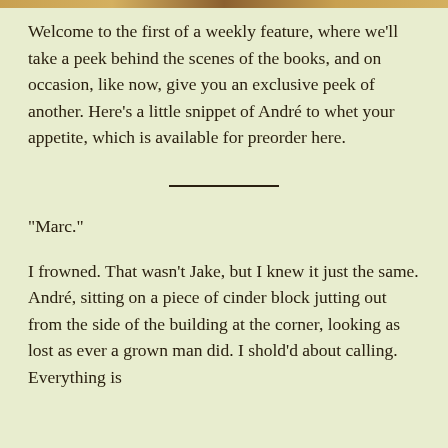[Figure (other): Decorative top bar with gold/brown gradient pattern]
Welcome to the first of a weekly feature, where we'll take a peek behind the scenes of the books, and on occasion, like now, give you an exclusive peek of another. Here's a little snippet of André to whet your appetite, which is available for preorder here.
"Marc."
I frowned. That wasn't Jake, but I knew it just the same. André, sitting on a piece of cinder block jutting out from the side of the building at the corner, looking as lost as ever a grown man did. I shold'd about calling. Everything is